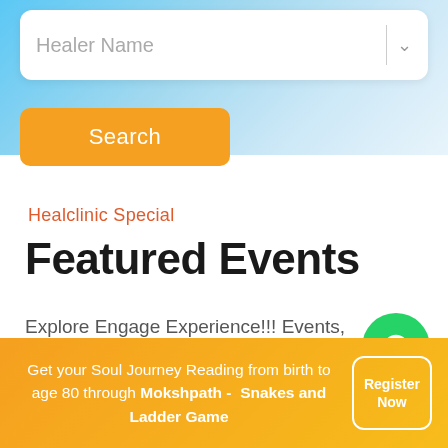[Figure (screenshot): Search input field with 'Healer Name' placeholder and dropdown chevron, on a light blue gradient background]
Search
Healclinic Special
Featured Events
Explore Engage Experience!!! Events, Workshops, Talks, Discussions with our
[Figure (logo): WhatsApp green circle icon]
Get your Soul Journey Reading from birth to age 80 through Mokshpath - Snakes and Ladder Game
Register Now